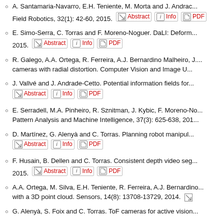A. Santamaria-Navarro, E.H. Teniente, M. Morta and J. Andrade-Cetto. Field Robotics, 32(1): 42-60, 2015. [Abstract] [Info] [PDF]
E. Simo-Serra, C. Torras and F. Moreno-Noguer. DaLI: Deform... 2015. [Abstract] [Info] [PDF]
R. Galego, A.A. Ortega, R. Ferreira, A.J. Bernardino Malheiro, J.... cameras with radial distortion. Computer Vision and Image U...
J. Vallvé and J. Andrade-Cetto. Potential information fields for... [Abstract] [Info] [PDF]
E. Serradell, M.A. Pinheiro, R. Sznitman, J. Kybic, F. Moreno-No... Pattern Analysis and Machine Intelligence, 37(3): 625-638, 201...
D. Martínez, G. Alenyà and C. Torras. Planning robot manipul... [Abstract] [Info] [PDF]
F. Husain, B. Dellen and C. Torras. Consistent depth video seg... 2015. [Abstract] [Info] [PDF]
A.A. Ortega, M. Silva, E.H. Teniente, R. Ferreira, A.J. Bernardino... with a 3D point cloud. Sensors, 14(8): 13708-13729, 2014.
G. Alenyà, S. Foix and C. Torras. ToF cameras for active vision...